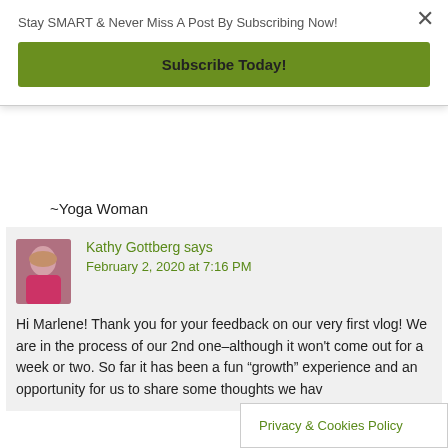Stay SMART & Never Miss A Post By Subscribing Now!
Subscribe Today!
~Yoga Woman
Kathy Gottberg says
February 2, 2020 at 7:16 PM
Hi Marlene! Thank you for your feedback on our very first vlog! We are in the process of our 2nd one–although it won't come out for a week or two. So far it has been a fun “growth” experience and an opportunity for us to share some thoughts we hav…
Privacy & Cookies Policy